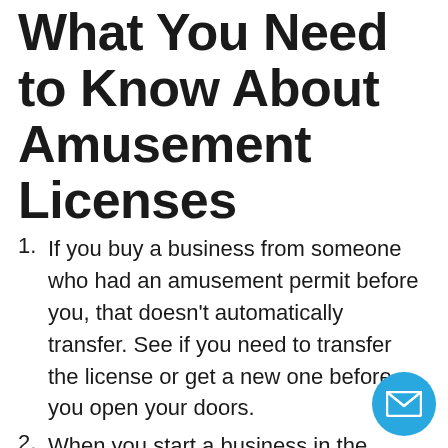What You Need to Know About Amusement Licenses
If you buy a business from someone who had an amusement permit before you, that doesn't automatically transfer. See if you need to transfer the license or get a new one before you open your doors.
When you start a business in the amusement category, find out if the building you're looking at is appropriately zoned for an amusement business. Some types of businesses (for example, strip clubs) may not get an approved zoning permit in certain areas of town.
Get your legal ducks in a row. When you